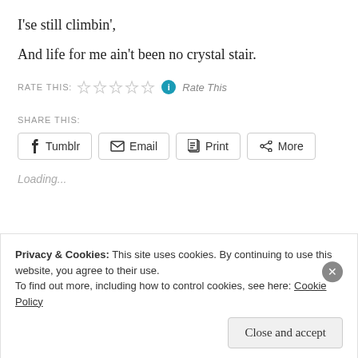I'se still climbin',
And life for me ain't been no crystal stair.
RATE THIS: ☆☆☆☆☆ ℹ Rate This
SHARE THIS:
Tumblr  Email  Print  More
Loading...
Privacy & Cookies: This site uses cookies. By continuing to use this website, you agree to their use.
To find out more, including how to control cookies, see here: Cookie Policy
Close and accept